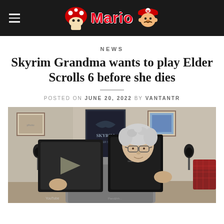Mario
NEWS
Skyrim Grandma wants to play Elder Scrolls 6 before she dies
POSTED ON JUNE 20, 2022 BY VANTANTR
[Figure (photo): An elderly woman with white hair and glasses holds up a YouTube Silver Play Button award plaque. Behind her are posters including a Skyrim poster, framed pictures, and lamps. She is sitting in a room with a red plaid chair visible to the right.]